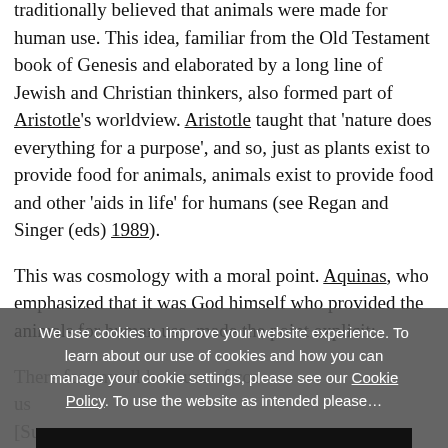traditionally believed that animals were made for human use. This idea, familiar from the Old Testament book of Genesis and elaborated by a long line of Jewish and Christian thinkers, also formed part of Aristotle's worldview. Aristotle taught that 'nature does everything for a purpose', and so, just as plants exist to provide food for animals, animals exist to provide food and other 'aids in life' for humans (see Regan and Singer (eds) 1989).
This was cosmology with a moral point. Aquinas, who emphasized that it was God himself who provided the animals for human use, made the point explicit:
We use cookies to improve your website experience. To learn about our use of cookies and how you can manage your cookie settings, please see our Cookie Policy. To use the website as intended please...